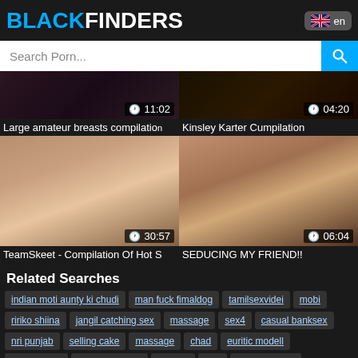BLACKFINDERS
Search Porn...
[Figure (screenshot): Video thumbnail: Large amateur breasts compilation, duration 11:02]
Large amateur breasts compilation
[Figure (screenshot): Video thumbnail: Kinsley Karter Cumpilation, duration 04:20]
Kinsley Karter Cumpilation
[Figure (screenshot): Video thumbnail: TeamSkeet - Compilation Of Hot S, duration 30:57]
TeamSkeet - Compilation Of Hot S
[Figure (screenshot): Video thumbnail: SEDUCING MY FRIEND!!, duration 06:04]
SEDUCING MY FRIEND!!
Related Searches
indian moti aunty ki chudi
man fuck fimaldog
tamilsexvidei
mobi
ririko shiina
jangil catching sex
massage
sex4
casual banksex
nri punjab
selling cake
massage
chad
euritic modell
nubiles full2
talkin mom sex
gijanea
dior
small bro wife
madonna latest scenes
driver